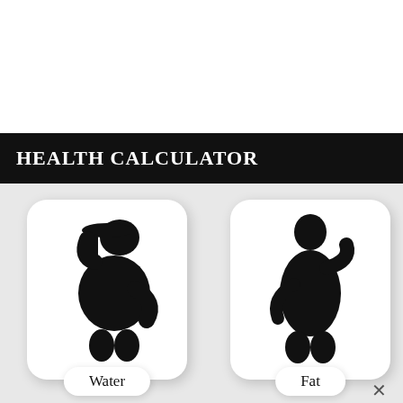HEALTH CALCULATOR
[Figure (illustration): Silhouette of a person wearing a cap drinking from a bottle, with a 'Water' label below on a white rounded card]
[Figure (illustration): Silhouette of an overweight standing person with hands raised, with a 'Fat' label below on a white rounded card]